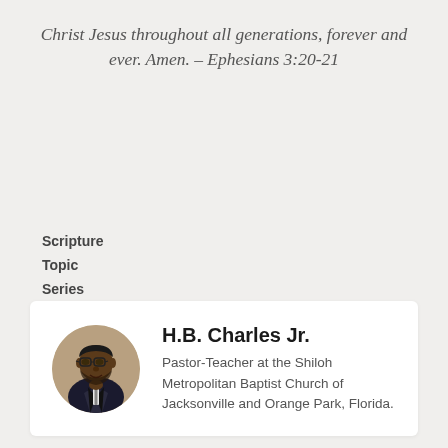Christ Jesus throughout all generations, forever and ever. Amen. – Ephesians 3:20-21
Scripture
Topic
Series
[Figure (photo): Circular portrait photo of H.B. Charles Jr., a man in a dark suit with glasses]
H.B. Charles Jr.
Pastor-Teacher at the Shiloh Metropolitan Baptist Church of Jacksonville and Orange Park, Florida.